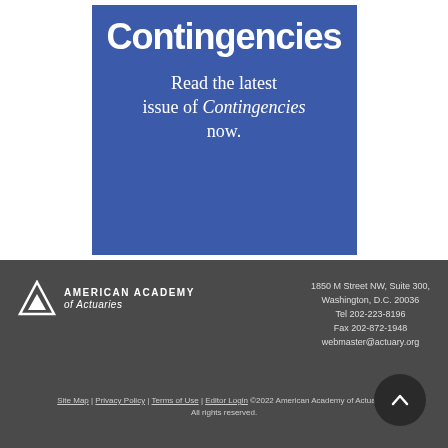[Figure (illustration): Blue square advertisement box with bold white 'Contingencies' title at top and text 'Read the latest issue of Contingencies now.' below]
[Figure (logo): American Academy of Actuaries logo with triangle symbol and text]
1850 M Street NW, Suite 300, Washington, D.C. 20036 Tel 202-223-8196 Fax 202-872-1948 webmaster@actuary.org
Site Map | Privacy Policy | Terms of Use | Editor Login ©2022 American Academy of Actuaries. All rights reserved.